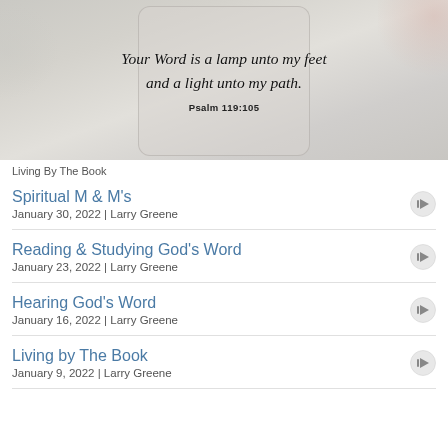[Figure (photo): Hero image with tablet showing an open Bible, a pink coffee cup, dried flowers, and a cursive Bible verse quote on a light gray/wood background. Quote reads: 'Your Word is a lamp unto my feet and a light unto my path. Psalm 119:105']
Living By The Book
Spiritual M & M's
January 30, 2022 | Larry Greene
Reading & Studying God's Word
January 23, 2022 | Larry Greene
Hearing God's Word
January 16, 2022 | Larry Greene
Living by The Book
January 9, 2022 | Larry Greene